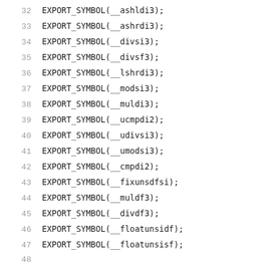32  EXPORT_SYMBOL(__ashldi3);
33  EXPORT_SYMBOL(__ashrdi3);
34  EXPORT_SYMBOL(__divsi3);
35  EXPORT_SYMBOL(__divsf3);
36  EXPORT_SYMBOL(__lshrdi3);
37  EXPORT_SYMBOL(__modsi3);
38  EXPORT_SYMBOL(__muldi3);
39  EXPORT_SYMBOL(__ucmpdi2);
40  EXPORT_SYMBOL(__udivsi3);
41  EXPORT_SYMBOL(__umodsi3);
42  EXPORT_SYMBOL(__cmpdi2);
43  EXPORT_SYMBOL(__fixunsdfsi);
44  EXPORT_SYMBOL(__muldf3);
45  EXPORT_SYMBOL(__divdf3);
46  EXPORT_SYMBOL(__floatunsidf);
47  EXPORT_SYMBOL(__floatunsisf);
48
49  /* ARC optimised assembler routines */
50  EXPORT_SYMBOL(memset);
51  EXPORT_SYMBOL(memcpy);
52  EXPORT_SYMBOL(memcmp);